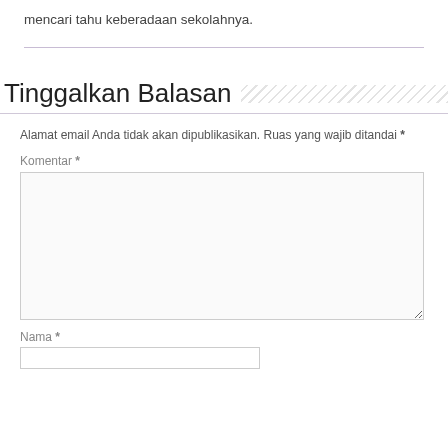mencari tahu keberadaan sekolahnya.
Tinggalkan Balasan
Alamat email Anda tidak akan dipublikasikan. Ruas yang wajib ditandai *
Komentar *
Nama *